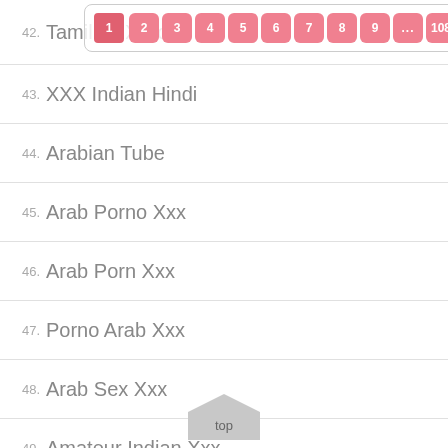42. Tamil XXX Porn
43. XXX Indian Hindi
44. Arabian Tube
45. Arab Porno Xxx
46. Arab Porn Xxx
47. Porno Arab Xxx
48. Arab Sex Xxx
49. Amateur Indian Xxx
50. Indian Girl Porn Video